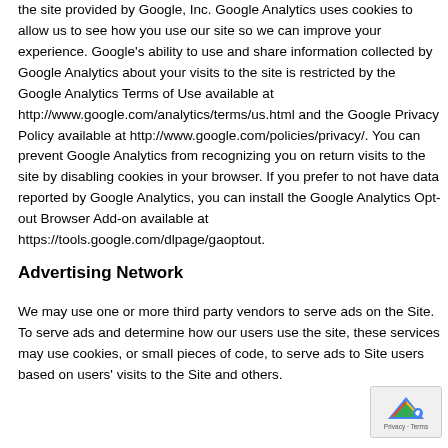the site provided by Google, Inc. Google Analytics uses cookies to allow us to see how you use our site so we can improve your experience. Google's ability to use and share information collected by Google Analytics about your visits to the site is restricted by the Google Analytics Terms of Use available at http://www.google.com/analytics/terms/us.html and the Google Privacy Policy available at http://www.google.com/policies/privacy/. You can prevent Google Analytics from recognizing you on return visits to the site by disabling cookies in your browser. If you prefer to not have data reported by Google Analytics, you can install the Google Analytics Opt-out Browser Add-on available at https://tools.google.com/dlpage/gaoptout.
Advertising Network
We may use one or more third party vendors to serve ads on the Site. To serve ads and determine how our users use the site, these services may use cookies, or small pieces of code, to serve ads to Site users based on users' visits to the Site and others.